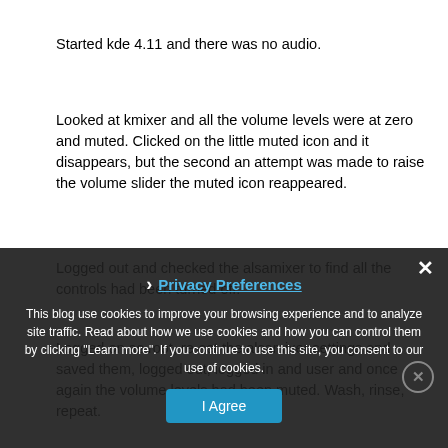Started kde 4.11 and there was no audio.
Looked at kmixer and all the volume levels were at zero and muted. Clicked on the little muted icon and it disappears, but the second an attempt was made to raise the volume slider the muted icon reappeared.
Logged out and checked the alsamixer to find all the controls had been turned off.
Logged on as root, re-set the alsamixer settings and saved them, logged out, logged in and user and once again the volume levels had been muted. Wash, rinse, repeat.
This blog use cookies to improve your browsing experience and to analyze site traffic. Read about how we use cookies and how you can control them by clicking "Learn more". If you continue to use this site, you consent to our use of cookies.
Privacy Preferences
I Agree